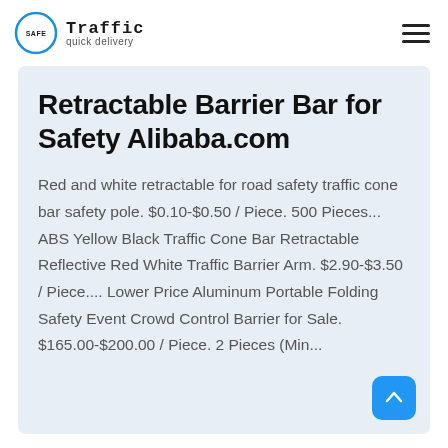Safe Traffic quick delivery
Retractable Barrier Bar for Safety Alibaba.com
Red and white retractable for road safety traffic cone bar safety pole. $0.10-$0.50 / Piece. 500 Pieces... ABS Yellow Black Traffic Cone Bar Retractable Reflective Red White Traffic Barrier Arm. $2.90-$3.50 / Piece.... Lower Price Aluminum Portable Folding Safety Event Crowd Control Barrier for Sale. $165.00-$200.00 / Piece. 2 Pieces (Min...